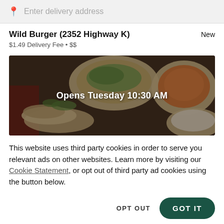Enter delivery address
Wild Burger (2352 Highway K)
$1.49 Delivery Fee • $$
[Figure (photo): Overhead photo of food dishes on a dark wooden table with a semi-transparent dark overlay. Text overlay reads 'Opens Tuesday 10:30 AM']
This website uses third party cookies in order to serve you relevant ads on other websites. Learn more by visiting our Cookie Statement, or opt out of third party ad cookies using the button below.
OPT OUT
GOT IT